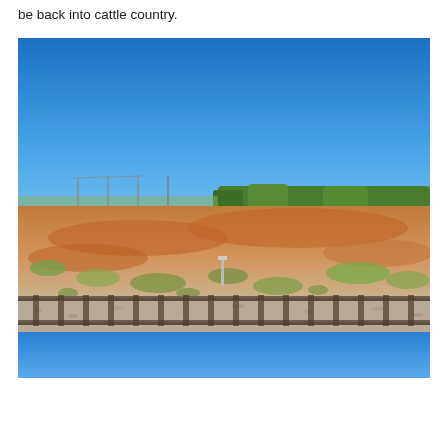be back into cattle country.
[Figure (photo): Photograph taken from a train window showing an arid Australian outback landscape. A clear deep blue sky occupies the upper half. The middle ground shows dry red-orange earth with sparse scrubby vegetation and green trees along the horizon. Railway tracks run across the lower foreground. The bottom portion of the image fades into a blue gradient.]